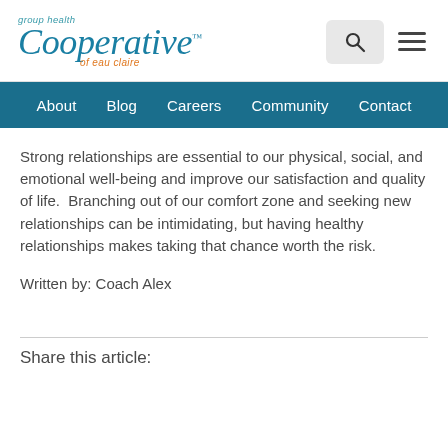Group Health Cooperative of Eau Claire — logo with search and menu icons
About  Blog  Careers  Community  Contact
Strong relationships are essential to our physical, social, and emotional well-being and improve our satisfaction and quality of life.  Branching out of our comfort zone and seeking new relationships can be intimidating, but having healthy relationships makes taking that chance worth the risk.
Written by: Coach Alex
Share this article: